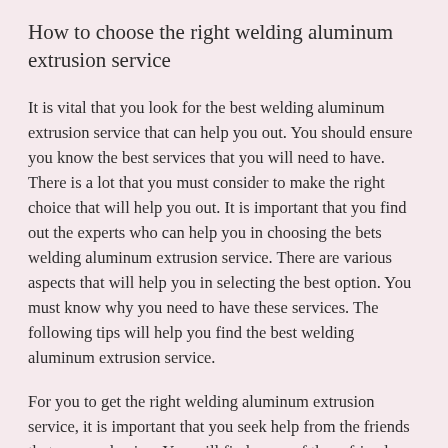How to choose the right welding aluminum extrusion service
It is vital that you look for the best welding aluminum extrusion service that can help you out. You should ensure you know the best services that you will need to have. There is a lot that you must consider to make the right choice that will help you out. It is important that you find out the experts who can help you in choosing the bets welding aluminum extrusion service. There are various aspects that will help you in selecting the best option. You must know why you need to have these services. The following tips will help you find the best welding aluminum extrusion service.
For you to get the right welding aluminum extrusion service, it is important that you seek help from the friends that you are having. You will find some of these friends that you have who have been getting the